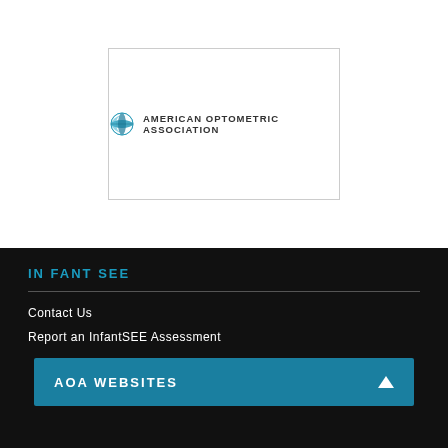[Figure (logo): American Optometric Association logo — globe icon in teal/blue next to text 'AMERICAN OPTOMETRIC ASSOCIATION' in dark gray capital letters, inside a white box with a light gray border]
INFANT SEE
Contact Us
Report an InfantSEE Assessment
AOA WEBSITES